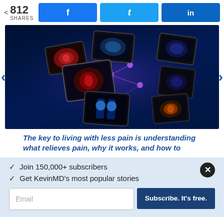< 812 SHARES  [Facebook] [Twitter] [LinkedIn]
[Figure (illustration): Medical illustration showing multiple tablet devices displaying body pain/anatomy images arranged in a floating grid pattern against a dark blue background, connected by glowing purple network lines]
The key to living with less pain is understanding what relieves pain, why it works, and how to
✓  Join 150,000+ subscribers
✓  Get KevinMD's most popular stories
Email  [Subscribe. It's free.]